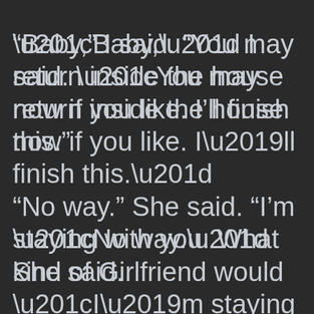“Baby,” I said. “You may return inside the house now if you like. I’ll finish this.” “No way.” She said. “I’m staying with you. What kind of Girlfriend would